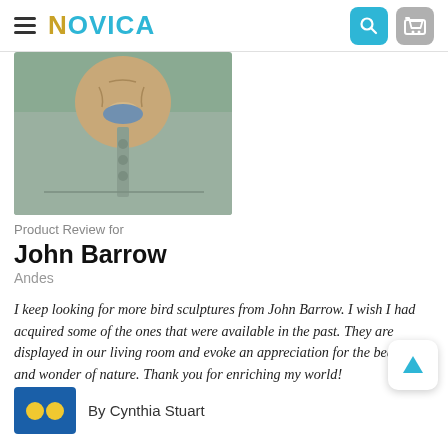NOVICA
[Figure (photo): Photo of a person/animal wearing a light gray henley shirt, viewed from chest up]
Product Review for
John Barrow
Andes
I keep looking for more bird sculptures from John Barrow. I wish I had acquired some of the ones that were available in the past. They are displayed in our living room and evoke an appreciation for the beauty and wonder of nature. Thank you for enriching my world!
By Cynthia Stuart